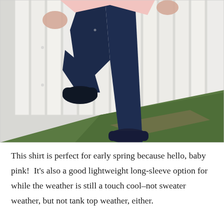[Figure (photo): A person leaning against a white wooden fence outdoors, wearing dark skinny jeans, a light pink long-sleeve shirt, and navy blue flat shoes. One leg is raised with the foot resting against the fence. Green grass is visible in the lower right.]
This shirt is perfect for early spring because hello, baby pink!  It's also a good lightweight long-sleeve option for while the weather is still a touch cool–not sweater weather, but not tank top weather, either.